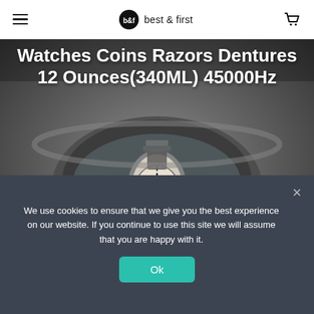best & first
[Figure (photo): Close-up photo of an ultrasonic cleaner device with a watch being cleaned inside it, in grayscale tones]
Watches Coins Razors Dentures 12 Ounces(340ML) 45000Hz
The EraClean Ultrasonic Cleaner keeps your favourite pieces clean and shiny, without harsh chemicals. You won't believe how your...
We use cookies to ensure that we give you the best experience on our website. If you continue to use this site we will assume that you are happy with it.